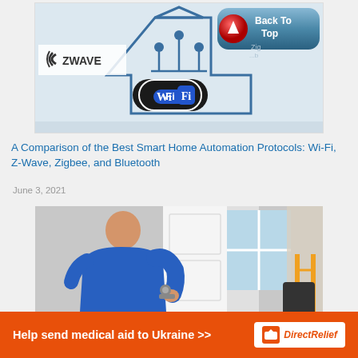[Figure (illustration): Smart home automation protocols banner featuring Z-Wave logo, connected home circuit diagram icon, Wi-Fi logo, Zigbee text, and a 'Back To Top' button overlay]
A Comparison of the Best Smart Home Automation Protocols: Wi-Fi, Z-Wave, Zigbee, and Bluetooth
June 3, 2021
[Figure (photo): Man in blue shirt installing or working on a door lock/smart lock on a white door, with windows visible in background]
[Figure (illustration): Direct Relief charity ad banner: orange background with text 'Help send medical aid to Ukraine >>' and Direct Relief logo on white background]